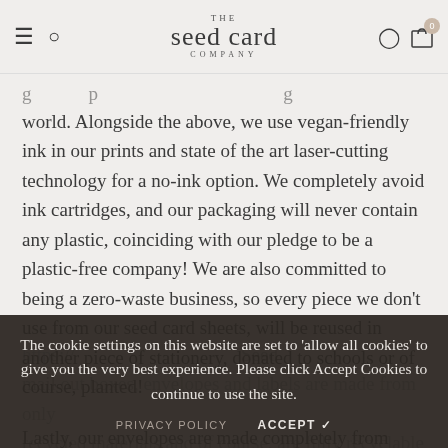THE seed card COMPANY
world. Alongside the above, we use vegan-friendly ink in our prints and state of the art laser-cutting technology for a no-ink option. We completely avoid ink cartridges, and our packaging will never contain any plastic, coinciding with our pledge to be a plastic-free company! We are also committed to being a zero-waste business, so every piece we don't use from our seed card sheets, will be reused in another piece of stationery, donated to schools or of course, planted!
Lastly, our envelopes are made completely from post-
The cookie settings on this website are set to 'allow all cookies' to give you the very best experience. Please click Accept Cookies to continue to use the site.
PRIVACY POLICY    ACCEPT ✓